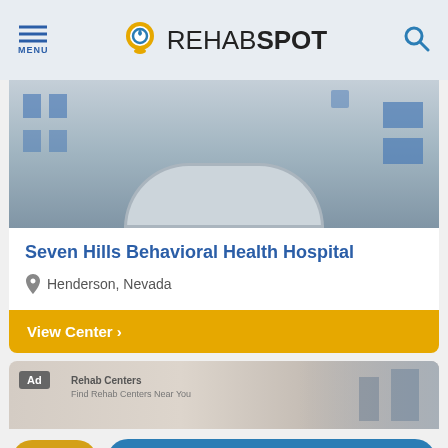MENU | REHABSPOT | Search
[Figure (photo): Exterior photo of a multi-story building with an arched canopy entrance and blue-tinted windows]
Seven Hills Behavioral Health Hospital
Henderson, Nevada
View Center >
[Figure (photo): Ad banner showing a blurred building exterior with Ad badge]
Chat
Call (877) 329-0791
Confidentially speak with a treatment provider